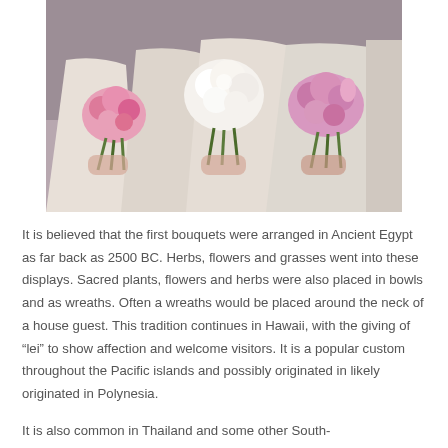[Figure (photo): Three bridesmaids in light champagne/ivory dresses holding pink and white flower bouquets. The bouquets include pink roses and white peonies.]
It is believed that the first bouquets were arranged in Ancient Egypt as far back as 2500 BC. Herbs, flowers and grasses went into these displays. Sacred plants, flowers and herbs were also placed in bowls and as wreaths. Often a wreaths would be placed around the neck of a house guest. This tradition continues in Hawaii, with the giving of “lei” to show affection and welcome visitors. It is a popular custom throughout the Pacific islands and possibly originated in likely originated in Polynesia.
It is also common in Thailand and some other South-